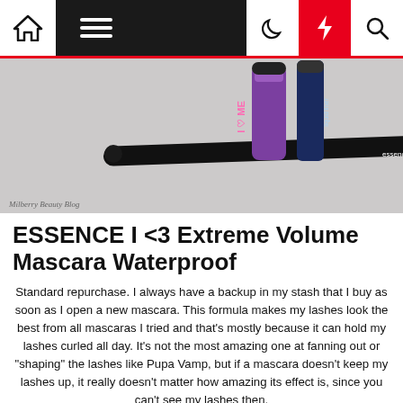[Figure (screenshot): Website navigation bar with home icon, hamburger menu on dark background, moon icon, red lightning bolt icon, and search icon]
[Figure (photo): Beauty products including ESSENCE I <3 Extreme Volume Mascara Waterproof and Essence 24ever ink liner on a light grey background. Watermark: Milberry Beauty Blog.]
ESSENCE I <3 Extreme Volume Mascara Waterproof
Standard repurchase. I always have a backup in my stash that I buy as soon as I open a new mascara. This formula makes my lashes look the best from all mascaras I tried and that's mostly because it can hold my lashes curled all day. It's not the most amazing one at fanning out or "shaping" the lashes like Pupa Vamp, but if a mascara doesn't keep my lashes up, it really doesn't matter how amazing its effect is, since you can't see my lashes then.